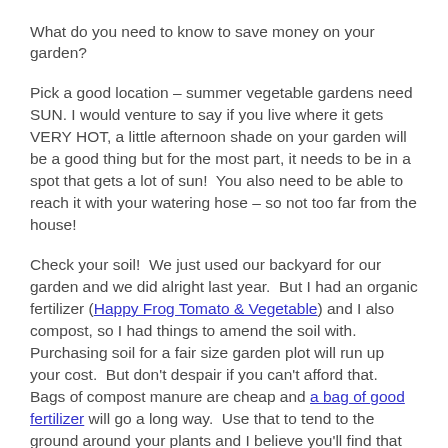What do you need to know to save money on your garden?
Pick a good location – summer vegetable gardens need SUN. I would venture to say if you live where it gets VERY HOT, a little afternoon shade on your garden will be a good thing but for the most part, it needs to be in a spot that gets a lot of sun!  You also need to be able to reach it with your watering hose – so not too far from the house!
Check your soil!  We just used our backyard for our garden and we did alright last year.  But I had an organic fertilizer (Happy Frog Tomato & Vegetable) and I also compost, so I had things to amend the soil with.  Purchasing soil for a fair size garden plot will run up your cost.  But don't despair if you can't afford that.  Bags of compost manure are cheap and a bag of good fertilizer will go a long way.  Use that to tend to the ground around your plants and I believe you'll find that your soil will